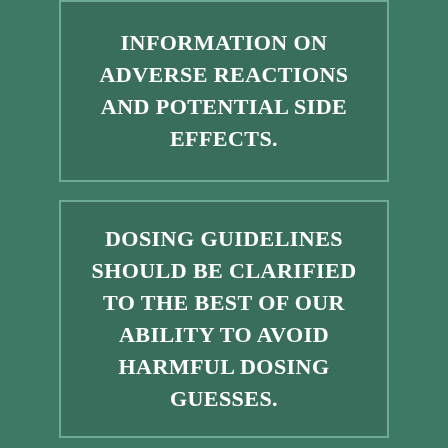INFORMATION ON ADVERSE REACTIONS AND POTENTIAL SIDE EFFECTS.
DOSING GUIDELINES SHOULD BE CLARIFIED TO THE BEST OF OUR ABILITY TO AVOID HARMFUL DOSING GUESSES.